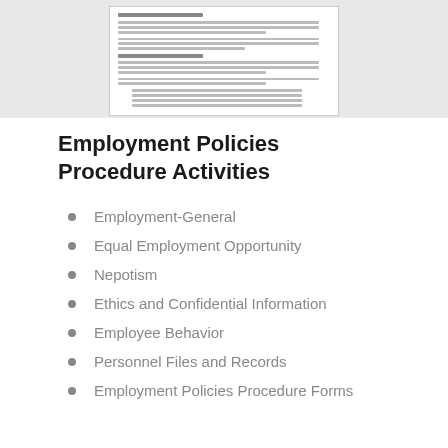[Figure (screenshot): Thumbnail screenshot of an employment policies document page showing section headers and body text]
Employment Policies Procedure Activities
Employment-General
Equal Employment Opportunity
Nepotism
Ethics and Confidential Information
Employee Behavior
Personnel Files and Records
Employment Policies Procedure Forms